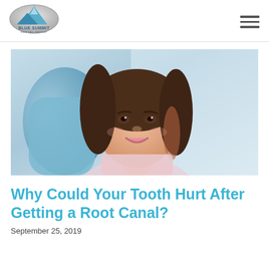[Figure (logo): Blue Summit Dental Group logo with mountain graphic in blue/silver tones]
[Figure (photo): Young woman smiling in a dental chair wearing a dental bib, blue chair visible in background]
Why Could Your Tooth Hurt After Getting a Root Canal?
September 25, 2019